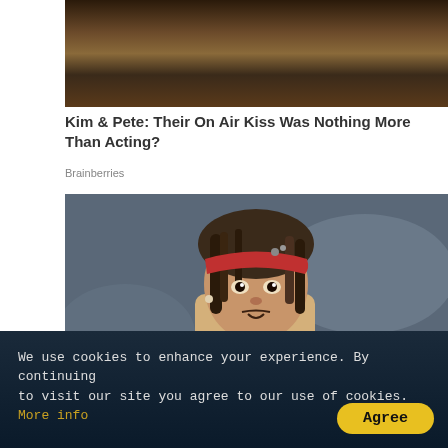[Figure (photo): Partial photo of a woman with dark hair wearing a dark mesh/net outfit, hand raised near face]
Kim & Pete: Their On Air Kiss Was Nothing More Than Acting?
Brainberries
[Figure (photo): Photo of a man dressed as Captain Jack Sparrow from Pirates of the Caribbean, wearing a red bandana headband with dreadlocks]
9 Iconic Roles Nobody
yabie.com
We use cookies to enhance your experience. By continuing to visit our site you agree to our use of cookies. More info
Agree